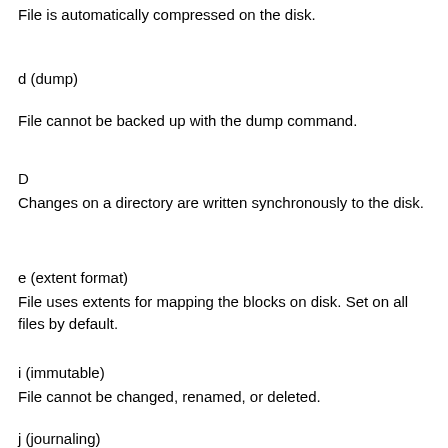File is automatically compressed on the disk.
d (dump)
File cannot be backed up with the dump command.
D
Changes on a directory are written synchronously to the disk.
e (extent format)
File uses extents for mapping the blocks on disk. Set on all files by default.
i (immutable)
File cannot be changed, renamed, or deleted.
j (journaling)